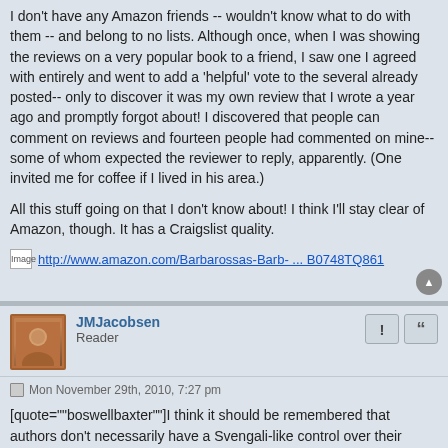I don't have any Amazon friends -- wouldn't know what to do with them -- and belong to no lists. Although once, when I was showing the reviews on a very popular book to a friend, I saw one I agreed with entirely and went to add a 'helpful' vote to the several already posted-- only to discover it was my own review that I wrote a year ago and promptly forgot about! I discovered that people can comment on reviews and fourteen people had commented on mine--some of whom expected the reviewer to reply, apparently. (One invited me for coffee if I lived in his area.)

All this stuff going on that I don't know about! I think I'll stay clear of Amazon, though. It has a Craigslist quality.
[Figure (other): Image placeholder icon]
http://www.amazon.com/Barbarossas-Barb- ... B0748TQ861
JMJacobsen
Reader
Mon November 29th, 2010, 7:27 pm
[quote=""boswellbaxter""]I think it should be remembered that authors don't necessarily have a Svengali-like control over their friends and relatives; some people post favorable reviews (or trash unfavorable reviews) in a misguided attempt to "help" an author friend or relative